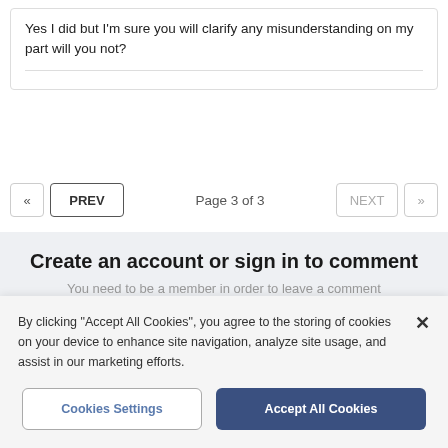Yes I did but I'm sure you will clarify any misunderstanding on my part will you not?
« PREV   Page 3 of 3   NEXT »
Create an account or sign in to comment
You need to be a member in order to leave a comment
Create an account
By clicking "Accept All Cookies", you agree to the storing of cookies on your device to enhance site navigation, analyze site usage, and assist in our marketing efforts.
Cookies Settings
Accept All Cookies